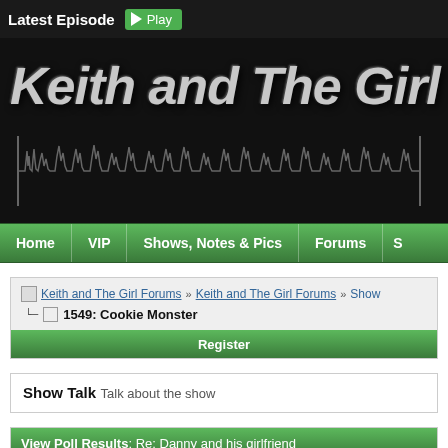Latest Episode  Play
[Figure (screenshot): Keith and The Girl podcast website hero banner with waveform graphic and large stylized title text on dark background]
Home | VIP | Shows, Notes & Pics | Forums | S
Keith and The Girl Forums » Keith and The Girl Forums » Show
1549: Cookie Monster
Register
Show Talk Talk about the show
View Poll Results: Re: Danny and his girlfriend
Thumbs Up